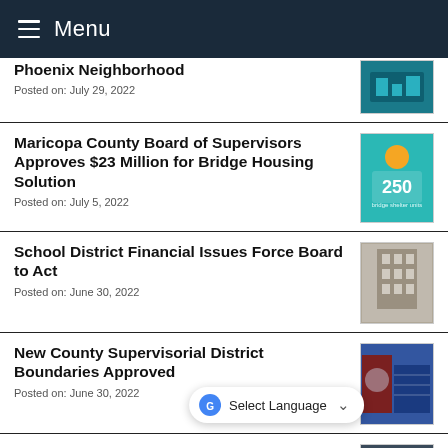Menu
Phoenix Neighborhood
Posted on: July 29, 2022
Maricopa County Board of Supervisors Approves $23 Million for Bridge Housing Solution
Posted on: July 5, 2022
School District Financial Issues Force Board to Act
Posted on: June 30, 2022
New County Supervisorial District Boundaries Approved
Posted on: June 30, 2022
Board of Supervisors Cuts Property Tax Rate, Works to Blunt Inflation in Final FY 2023 Budget